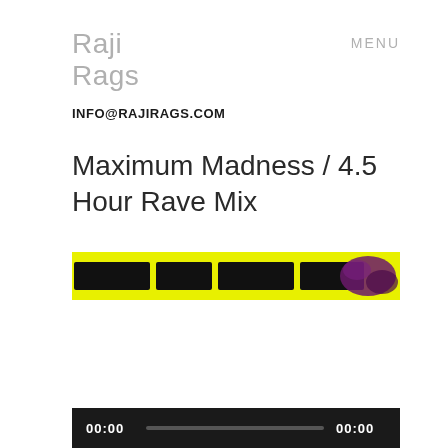Raji Rags
MENU
INFO@RAJIRAGS.COM
Maximum Madness / 4.5 Hour Rave Mix
[Figure (screenshot): Audio/video media player thumbnail showing a yellow background with a dark purple waveform or image on the right side, with black progress bar segments on the left portion.]
[Figure (screenshot): Dark audio player bar at the bottom showing 00:00 timestamps on left and right with a grey progress bar in between.]